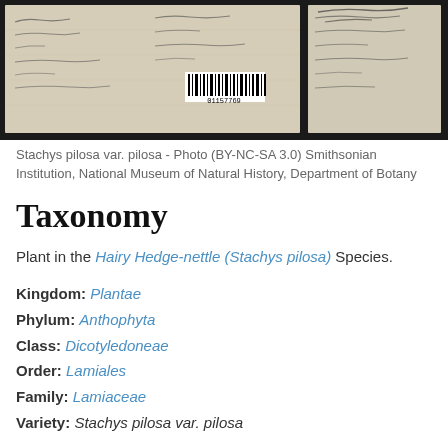[Figure (photo): Photograph of Stachys pilosa var. pilosa herbarium specimen sheet with handwritten labels and a barcode, from the Smithsonian Institution National Museum of Natural History Department of Botany.]
Stachys pilosa var. pilosa - Photo (BY-NC-SA 3.0) Smithsonian Institution, National Museum of Natural History, Department of Botany
Taxonomy
Plant in the Hairy Hedge-nettle (Stachys pilosa) Species.
Kingdom: Plantae
Phylum: Anthophyta
Class: Dicotyledoneae
Order: Lamiales
Family: Lamiaceae
Variety: Stachys pilosa var. pilosa
Found in Idaho
No children of Hairy Hedge-nettle (Stachys pilosa var. pilosa) found.